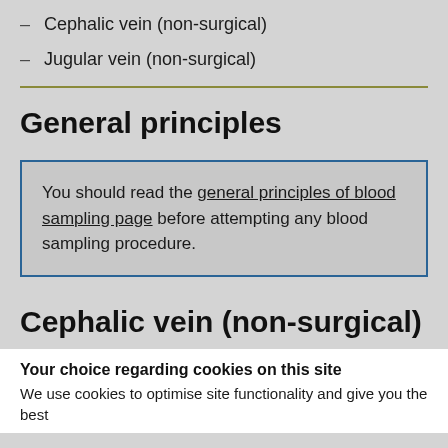– Cephalic vein (non-surgical)
– Jugular vein (non-surgical)
General principles
You should read the general principles of blood sampling page before attempting any blood sampling procedure.
Cephalic vein (non-surgical)
Your choice regarding cookies on this site
We use cookies to optimise site functionality and give you the best